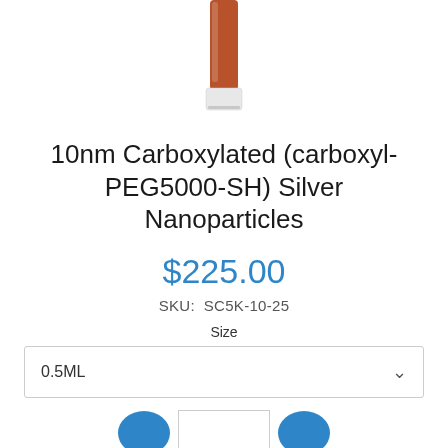[Figure (photo): Product photo of a small glass vial/tube with brownish-red liquid (nanoparticle solution) and white cap, shown from the top portion only]
10nm Carboxylated (carboxyl-PEG5000-SH) Silver Nanoparticles
$225.00
SKU:  SC5K-10-25
Size
0.5ML